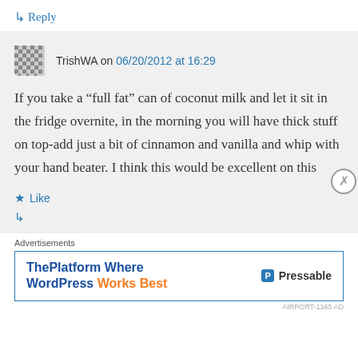↳ Reply
TrishWA on 06/20/2012 at 16:29
If you take a “full fat” can of coconut milk and let it sit in the fridge overnite, in the morning you will have thick stuff on top-add just a bit of cinnamon and vanilla and whip with your hand beater. I think this would be excellent on this
★ Like
Advertisements
ThePlatform Where WordPress Works Best — Pressable